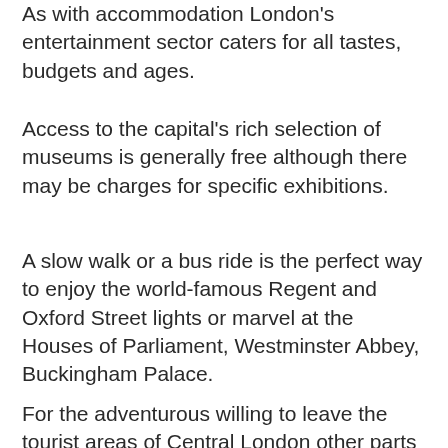As with accommodation London's entertainment sector caters for all tastes, budgets and ages.
Access to the capital's rich selection of museums is generally free although there may be charges for specific exhibitions.
A slow walk or a bus ride is the perfect way to enjoy the world-famous Regent and Oxford Street lights or marvel at the Houses of Parliament, Westminster Abbey, Buckingham Palace.
For the adventurous willing to leave the tourist areas of Central London other parts of